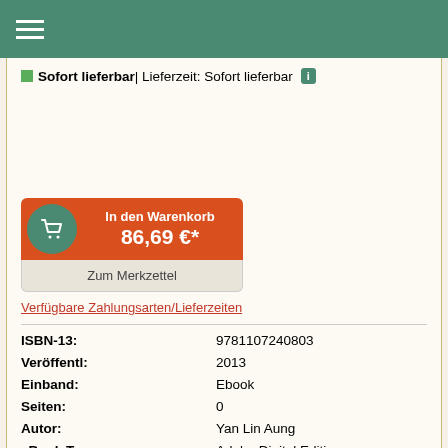Menu / Navigation bar
Sofort lieferbar | Lieferzeit: Sofort lieferbar  i
In den Warenkorb
86,69 €*
Zum Merkzettel
Verfügbare Zahlungsarten/Lieferzeiten
| Label | Value |
| --- | --- |
| ISBN-13: | 9781107240803 |
| Veröffentl: | 2013 |
| Einband: | Ebook |
| Seiten: | 0 |
| Autor: | Yan Lin Aung |
| eBook Typ: | Adobe Digital Editions |
| eBook Format: | EPUB |
| Kopierschutz: | Adobe DRM [Hard-DRM] |
| Sprache: | Englisch |